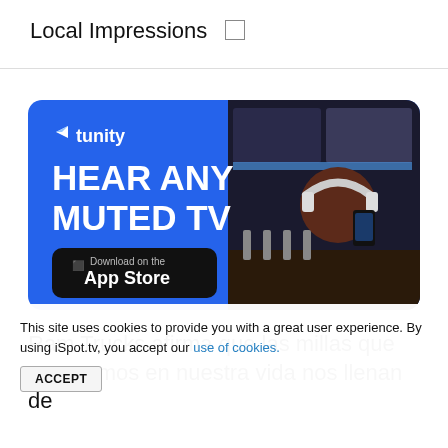Local Impressions
[Figure (photo): Tunity app advertisement banner with blue background showing 'HEAR ANY MUTED TV' and App Store download button, with a man wearing headphones using a smartphone at a bar]
Ram Trucks afirma que las millas que recorremos en nuestra vida nos llenan de
This site uses cookies to provide you with a great user experience. By using iSpot.tv, you accept our use of cookies.
ACCEPT